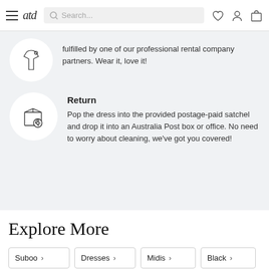atd — Search bar — user icon, heart icon, bag icon
fulfilled by one of our professional rental company partners. Wear it, love it!
Return
Pop the dress into the provided postage-paid satchel and drop it into an Australia Post box or office. No need to worry about cleaning, we've got you covered!
Explore More
Suboo >
Dresses >
Midis >
Black >